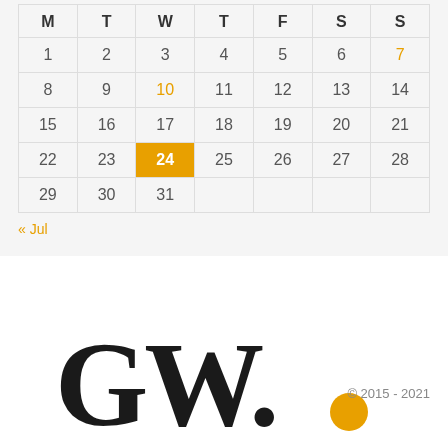| M | T | W | T | F | S | S |
| --- | --- | --- | --- | --- | --- | --- |
| 1 | 2 | 3 | 4 | 5 | 6 | 7 |
| 8 | 9 | 10 | 11 | 12 | 13 | 14 |
| 15 | 16 | 17 | 18 | 19 | 20 | 21 |
| 22 | 23 | 24 | 25 | 26 | 27 | 28 |
| 29 | 30 | 31 |  |  |  |  |
« Jul
[Figure (logo): GW logo with large serif GW text in black and a yellow dot, with copyright 2015-2021]
© 2015 - 2021